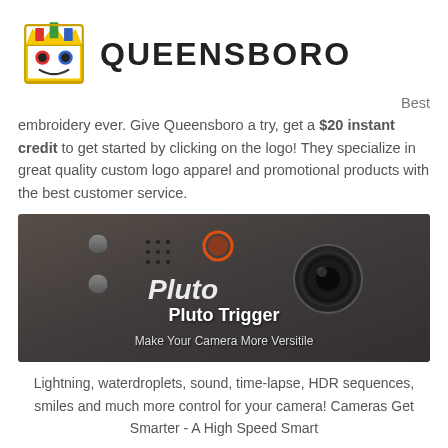[Figure (logo): Queensboro logo: colorful illustrated queen face with crown above text QUEENSBORO]
Best embroidery ever. Give Queensboro a try, get a $20 instant credit to get started by clicking on the logo! They specialize in great quality custom logo apparel and promotional products with the best customer service.
[Figure (photo): Close-up photo of a dark grey Pluto Trigger camera device with text overlay: 'Pluto Trigger - Make Your Camera More Versitile']
Lightning, waterdroplets, sound, time-lapse, HDR sequences, smiles and much more control for your camera! Cameras Get Smarter - A High Speed Smart